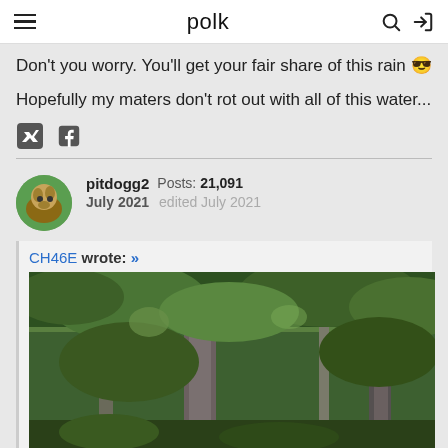polk
Don't you worry. You'll get your fair share of this rain 😎
Hopefully my maters don't rot out with all of this water...
pitdogg2  Posts: 21,091  July 2021  edited July 2021
CH46E wrote: »
[Figure (photo): Forest scene with tall tree trunks and dense green foliage canopy]